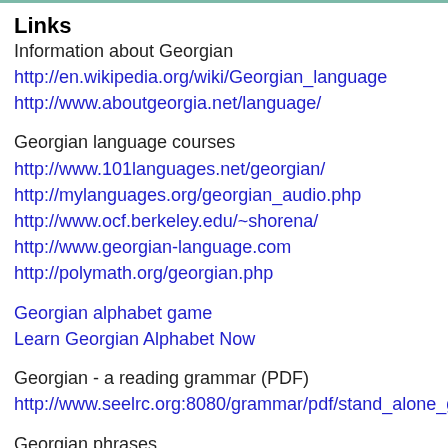Links
Information about Georgian
http://en.wikipedia.org/wiki/Georgian_language
http://www.aboutgeorgia.net/language/
Georgian language courses
http://www.101languages.net/georgian/
http://mylanguages.org/georgian_audio.php
http://www.ocf.berkeley.edu/~shorena/
http://www.georgian-language.com
http://polymath.org/georgian.php
Georgian alphabet game
Learn Georgian Alphabet Now
Georgian - a reading grammar (PDF)
http://www.seelrc.org:8080/grammar/pdf/stand_alone_georgia
Georgian phrases
http://ggdavid.tripod.com/georgia/language/gphrases.htm
http://www.aboutgeorgia.ge/language/phrases.html?